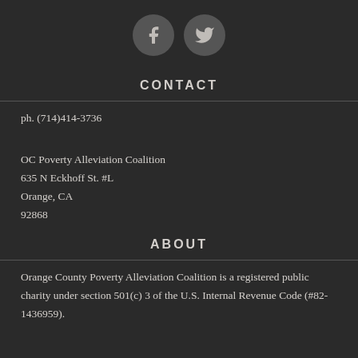[Figure (illustration): Two social media icon circles: Facebook (f) and Twitter (bird) in dark grey circles on dark background]
CONTACT
ph. (714)414-3736
OC Poverty Alleviation Coalition
635 N Eckhoff St. #L
Orange, CA
92868
ABOUT
Orange County Poverty Alleviation Coalition is a registered public charity under section 501(c) 3 of the U.S. Internal Revenue Code (#82-1436959).